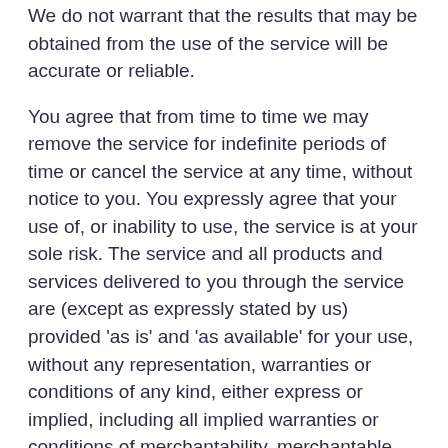We do not warrant that the results that may be obtained from the use of the service will be accurate or reliable.
You agree that from time to time we may remove the service for indefinite periods of time or cancel the service at any time, without notice to you. You expressly agree that your use of, or inability to use, the service is at your sole risk. The service and all products and services delivered to you through the service are (except as expressly stated by us) provided 'as is' and 'as available' for your use, without any representation, warranties or conditions of any kind, either express or implied, including all implied warranties or conditions of merchantability, merchantable quality, fitness for a particular purpose, durability, title, and non-infringement. In no case shall FME, our directors, officers, employees,